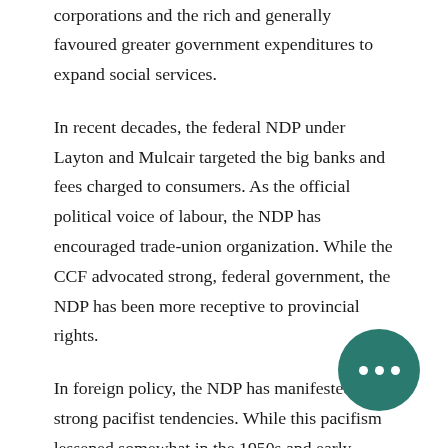corporations and the rich and generally favoured greater government expenditures to expand social services.
In recent decades, the federal NDP under Layton and Mulcair targeted the big banks and fees charged to consumers. As the official political voice of labour, the NDP has encouraged trade-union organization. While the CCF advocated strong, federal government, the NDP has been more receptive to provincial rights.
In foreign policy, the NDP has manifested strong pacifist tendencies. While this pacifism lessened somewhat in the 1950s and early